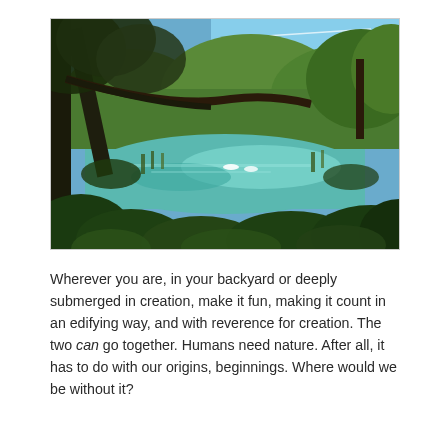[Figure (photo): A lush nature scene with a turquoise/blue river or spring visible through dense green trees and foliage, with some kayakers or swimmers visible in the water. Blue sky visible in the upper right. Tropical vegetation frames the scene.]
Wherever you are, in your backyard or deeply submerged in creation, make it fun, making it count in an edifying way, and with reverence for creation. The two can go together. Humans need nature. After all, it has to do with our origins, beginnings. Where would we be without it?